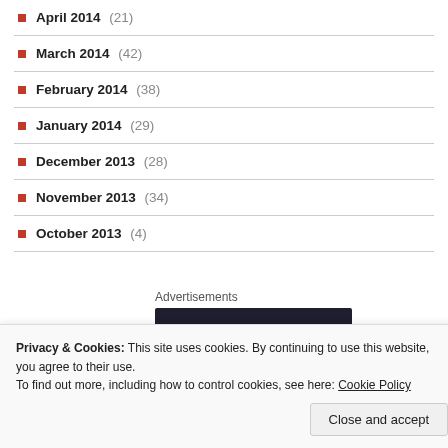April 2014 (21)
March 2014 (42)
February 2014 (38)
January 2014 (29)
December 2013 (28)
November 2013 (34)
October 2013 (4)
Advertisements
[Figure (logo): Sensei logo: dark navy background with a white circle containing a bonsai tree icon and the word 'sensei' in white serif text]
Privacy & Cookies: This site uses cookies. By continuing to use this website, you agree to their use. To find out more, including how to control cookies, see here: Cookie Policy
Close and accept